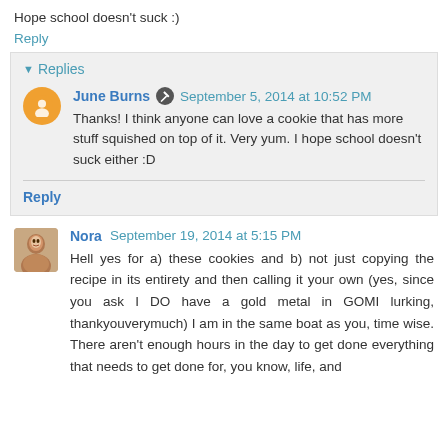Hope school doesn't suck :)
Reply
▾ Replies
June Burns  September 5, 2014 at 10:52 PM
Thanks! I think anyone can love a cookie that has more stuff squished on top of it. Very yum. I hope school doesn't suck either :D
Reply
Nora  September 19, 2014 at 5:15 PM
Hell yes for a) these cookies and b) not just copying the recipe in its entirety and then calling it your own (yes, since you ask I DO have a gold metal in GOMI lurking, thankyouverymuch) I am in the same boat as you, time wise. There aren't enough hours in the day to get done everything that needs to get done for, you know, life, and